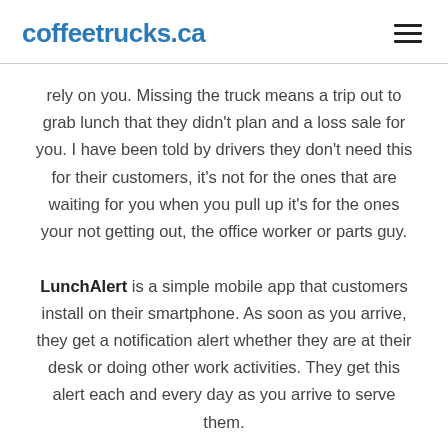coffeetrucks.ca
rely on you. Missing the truck means a trip out to grab lunch that they didn't plan and a loss sale for you. I have been told by drivers they don't need this for their customers, it's not for the ones that are waiting for you when you pull up it's for the ones your not getting out, the office worker or parts guy. LunchAlert is a simple mobile app that customers install on their smartphone. As soon as you arrive, they get a notification alert whether they are at their desk or doing other work activities. They get this alert each and every day as you arrive to serve them.